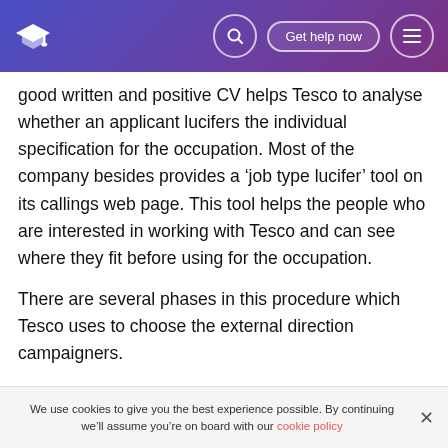Header bar with graduation cap logo, search icon, 'Get help now' button, and menu icon
good written and positive CV helps Tesco to analyse whether an applicant lucifers the individual specification for the occupation. Most of the company besides provides a ‘job type lucifer’ tool on its callings web page. This tool helps the people who are interested in working with Tesco and can see where they fit before using for the occupation.
There are several phases in this procedure which Tesco uses to choose the external direction campaigners.
As the campaigner passes the showing phase attends an appraisal centre. The appraisal centre is taking topographic
We use cookies to give you the best experience possible. By continuing we’ll assume you’re on board with our cookie policy